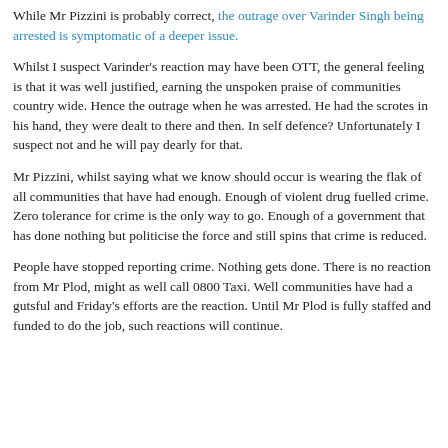While Mr Pizzini is probably correct, the outrage over Varinder Singh being arrested is symptomatic of a deeper issue.
Whilst I suspect Varinder's reaction may have been OTT, the general feeling is that it was well justified, earning the unspoken praise of communities country wide. Hence the outrage when he was arrested. He had the scrotes in his hand, they were dealt to there and then. In self defence? Unfortunately I suspect not and he will pay dearly for that.
Mr Pizzini, whilst saying what we know should occur is wearing the flak of all communities that have had enough. Enough of violent drug fuelled crime. Zero tolerance for crime is the only way to go. Enough of a government that has done nothing but politicise the force and still spins that crime is reduced.
People have stopped reporting crime. Nothing gets done. There is no reaction from Mr Plod, might as well call 0800 Taxi. Well communities have had a gutsful and Friday's efforts are the reaction. Until Mr Plod is fully staffed and funded to do the job, such reactions will continue.